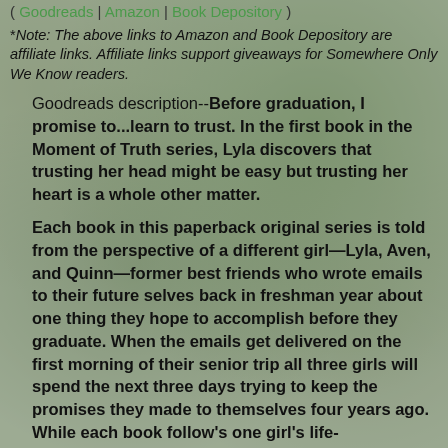( Goodreads | Amazon | Book Depository )
*Note: The above links to Amazon and Book Depository are affiliate links. Affiliate links support giveaways for Somewhere Only We Know readers.
Goodreads description--Before graduation, I promise to...learn to trust. In the first book in the Moment of Truth series, Lyla discovers that trusting her head might be easy but trusting her heart is a whole other matter.
Each book in this paperback original series is told from the perspective of a different girl—Lyla, Aven, and Quinn—former best friends who wrote emails to their future selves back in freshman year about one thing they hope to accomplish before they graduate. When the emails get delivered on the first morning of their senior trip all three girls will spend the next three days trying to keep the promises they made to themselves four years ago. While each book follow's one girl's life-